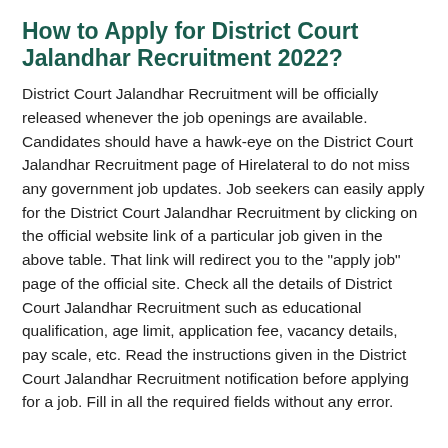How to Apply for District Court Jalandhar Recruitment 2022?
District Court Jalandhar Recruitment will be officially released whenever the job openings are available. Candidates should have a hawk-eye on the District Court Jalandhar Recruitment page of Hirelateral to do not miss any government job updates. Job seekers can easily apply for the District Court Jalandhar Recruitment by clicking on the official website link of a particular job given in the above table. That link will redirect you to the "apply job" page of the official site. Check all the details of District Court Jalandhar Recruitment such as educational qualification, age limit, application fee, vacancy details, pay scale, etc. Read the instructions given in the District Court Jalandhar Recruitment notification before applying for a job. Fill in all the required fields without any error.